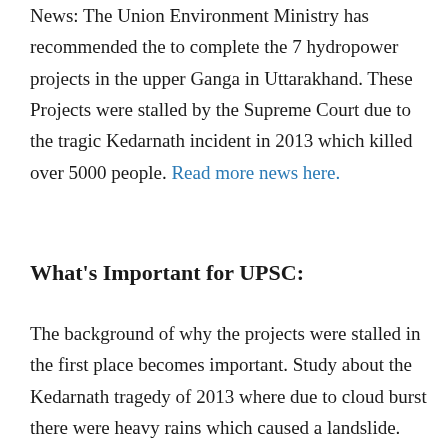News: The Union Environment Ministry has recommended the to complete the 7 hydropower projects in the upper Ganga in Uttarakhand. These Projects were stalled by the Supreme Court due to the tragic Kedarnath incident in 2013 which killed over 5000 people. Read more news here.
What's Important for UPSC:
The background of why the projects were stalled in the first place becomes important. Study about the Kedarnath tragedy of 2013 where due to cloud burst there were heavy rains which caused a landslide. This incident killed over 5000 people and many are still